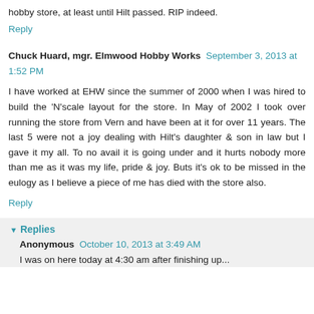hobby store, at least until Hilt passed. RIP indeed.
Reply
Chuck Huard, mgr. Elmwood Hobby Works September 3, 2013 at 1:52 PM
I have worked at EHW since the summer of 2000 when I was hired to build the 'N'scale layout for the store. In May of 2002 I took over running the store from Vern and have been at it for over 11 years. The last 5 were not a joy dealing with Hilt's daughter & son in law but I gave it my all. To no avail it is going under and it hurts nobody more than me as it was my life, pride & joy. Buts it's ok to be missed in the eulogy as I believe a piece of me has died with the store also.
Reply
Replies
Anonymous October 10, 2013 at 3:49 AM
I was on here today at 4:30 am after finishing up...